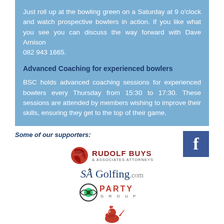Just roll up at the bowling green on a Saturday at 9 o'clock and watch prospective bowlers in action. If you like what you see you can discuss the way forward with Dave Arnison 082 943 1665.
Advanced Coaching for experienced bowlers
BSC holds advanced coaching sessions for experienced bowlers every Thursday from 15:30 to 17:30. These sessions are attended by members wishing to improve their skills, ensuring they get to the top of their game.
Some of our supporters:
[Figure (logo): Facebook logo - blue square with white 'f']
[Figure (logo): Rudolf Buys & Associates Attorneys logo]
[Figure (logo): SA Golfing.com logo]
[Figure (logo): Party logo]
[Figure (logo): Nando's logo]